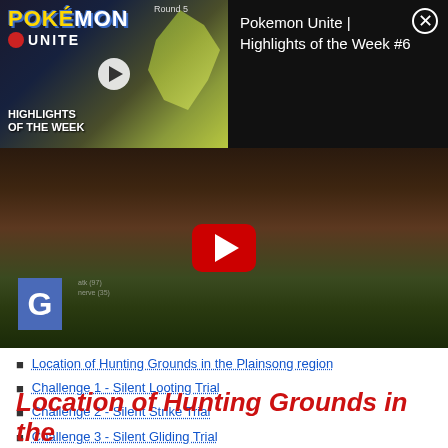[Figure (screenshot): Pokemon Unite Highlights of the Week video popup overlay showing a thumbnail with Pokemon Unite logo and a Tyranitar-like Pokemon, with title text 'Pokemon Unite | Highlights of the Week #6' and a close button]
[Figure (screenshot): YouTube video embed showing a dark game scene with a red play button in the center and a blue G badge in the bottom left corner]
Location of Hunting Grounds in the Plainsong region
Challenge 1 - Silent Looting Trial
Challenge 2 - Silent Strike Trial
Challenge 3 - Silent Gliding Trial
Location of Hunting Grounds in the